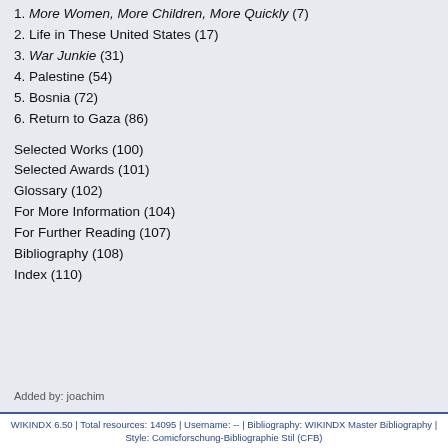1. More Women, More Children, More Quickly (7)
2. Life in These United States (17)
3. War Junkie (31)
4. Palestine (54)
5. Bosnia (72)
6. Return to Gaza (86)
Selected Works (100)
Selected Awards (101)
Glossary (102)
For More Information (104)
For Further Reading (107)
Bibliography (108)
Index (110)
Added by: joachim
WIKINDX 6.50 | Total resources: 14095 | Username: -- | Bibliography: WIKINDX Master Bibliography | Style: Comicforschung-Bibliographie Stil (CFB)